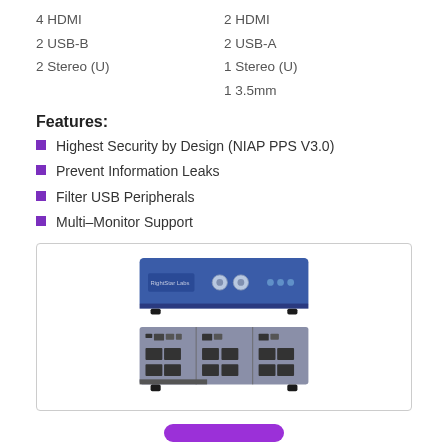4 HDMI
2 USB-B
2 Stereo (U)
2 HDMI
2 USB-A
1 Stereo (U)
1 3.5mm
Features:
Highest Security by Design (NIAP PPS V3.0)
Prevent Information Leaks
Filter USB Peripherals
Multi–Monitor Support
[Figure (photo): Front and rear view of a blue KVM switch device. Top image shows blue front panel with brand logo, two control knobs, and LED indicators. Bottom image shows gray rear panel with multiple HDMI ports, USB ports arranged in sections.]